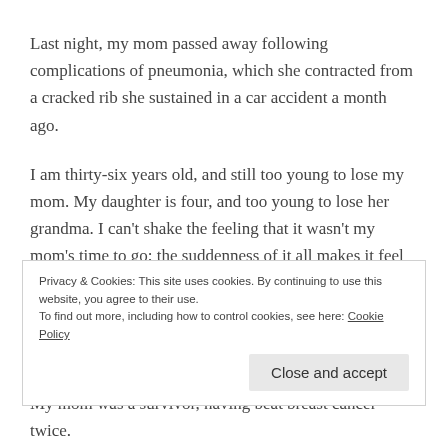Last night, my mom passed away following complications of pneumonia, which she contracted from a cracked rib she sustained in a car accident a month ago.
I am thirty-six years old, and still too young to lose my mom. My daughter is four, and too young to lose her grandma. I can't shake the feeling that it wasn't my mom's time to go; the suddenness of it all makes it feel that way—the fact that I didn't get a chance to say good-bye because I didn't know the last time would be the last
Privacy & Cookies: This site uses cookies. By continuing to use this website, you agree to their use.
To find out more, including how to control cookies, see here: Cookie Policy
Close and accept
My mom was a survivor, having beat breast cancer twice.